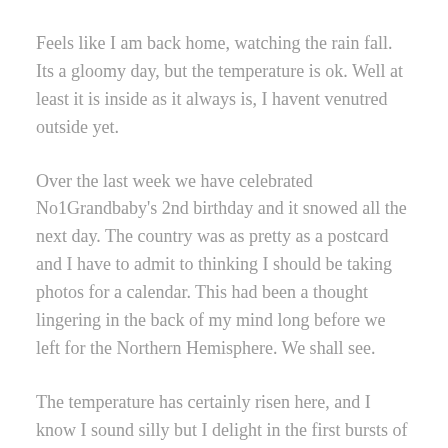Feels like I am back home, watching the rain fall. Its a gloomy day, but the temperature is ok. Well at least it is inside as it always is, I havent venutred outside yet.
Over the last week we have celebrated No1Grandbaby's 2nd birthday and it snowed all the next day. The country was as pretty as a postcard and I have to admit to thinking I should be taking photos for a calendar. This had been a thought lingering in the back of my mind long before we left for the Northern Hemisphere. We shall see.
The temperature has certainly risen here, and I know I sound silly but I delight in the first bursts of colour appearing. No disrespect to the Northern Hemisphere whanau, but god its brown up here when there is no snow. I mean everything is brown! Which is weird as with the snow its like picture postcard sights everywhere you turn, then as it melts its